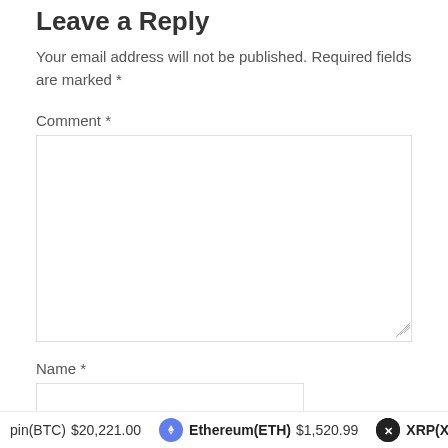Leave a Reply
Your email address will not be published. Required fields are marked *
Comment *
Name *
pin(BTC) $20,221.00   Ethereum(ETH) $1,520.99   XRP(XRP)